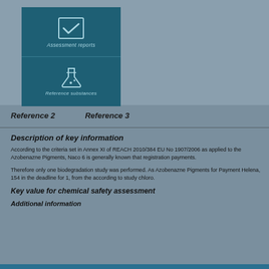[Figure (illustration): Two teal/dark blue icon boxes stacked vertically. Top box shows a checkmark icon with label 'Assessment reports'. Bottom box shows a flask/beaker icon with label 'Reference substances'.]
Reference 2      Reference 3
Description of key information
According to the criteria set in Annex XI of REACH 2010/384 EU No 1907/2006 as applied to the Azobenazne Pigments, Naco 6 is generally known that registration payments.
Therefore only one biodegradation study was performed. As Azobenazne Pigments for Payment Helena, 154 in the deadline for 1, from the according to study chloro.
Key value for chemical safety assessment
Additional information